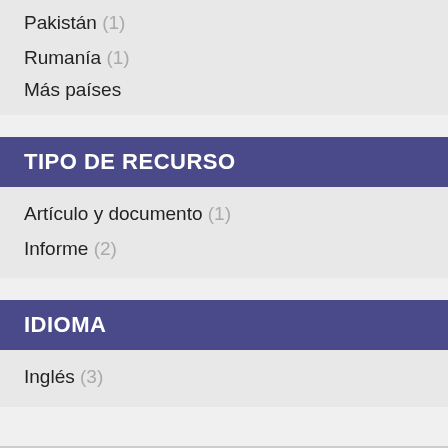Pakistán (1)
Rumanía (1)
Más países
TIPO DE RECURSO
Artículo y documento (1)
Informe (2)
IDIOMA
Inglés (3)